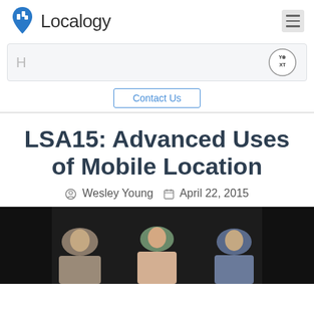[Figure (logo): Localogy logo with blue map pin icon and text 'Localogy']
[Figure (screenshot): Search bar with placeholder 'H' and Yext circular badge on the right]
Contact Us
LSA15: Advanced Uses of Mobile Location
Wesley Young   April 22, 2015
[Figure (photo): Three people (two men and one woman) seated on stage in front of dark curtain backdrop]